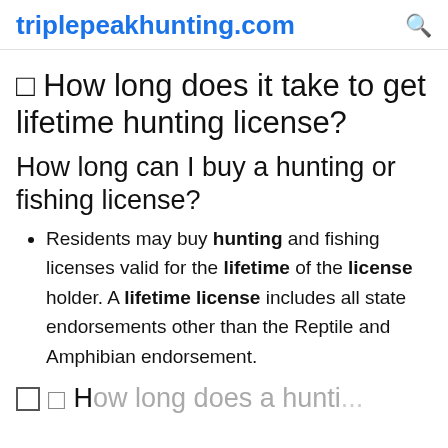triplepeakhunting.com
🔲 How long does it take to get lifetime hunting license?
How long can I buy a hunting or fishing license?
Residents may buy hunting and fishing licenses valid for the lifetime of the license holder. A lifetime license includes all state endorsements other than the Reptile and Amphibian endorsement.
🔲 How long does a hunting ...